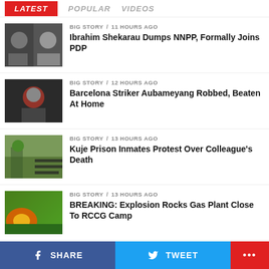LATEST  POPULAR  VIDEOS
BIG STORY / 11 hours ago
Ibrahim Shekarau Dumps NNPP, Formally Joins PDP
BIG STORY / 12 hours ago
Barcelona Striker Aubameyang Robbed, Beaten At Home
BIG STORY / 13 hours ago
Kuje Prison Inmates Protest Over Colleague's Death
BIG STORY / 13 hours ago
BREAKING: Explosion Rocks Gas Plant Close To RCCG Camp
SHARE  TWEET  ...